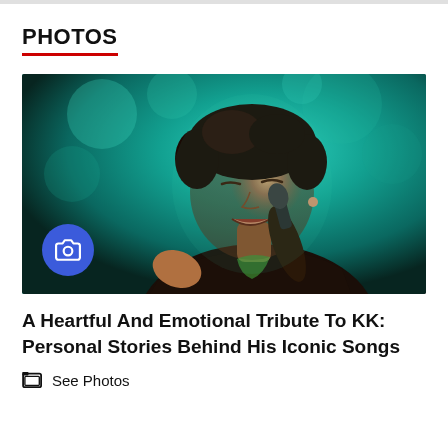PHOTOS
[Figure (photo): A male singer performing on stage, holding a microphone close to his mouth, eyes closed, smiling, lit by teal/green stage lighting. A blue circular camera icon badge is overlaid at the bottom-left of the image.]
A Heartful And Emotional Tribute To KK: Personal Stories Behind His Iconic Songs
See Photos